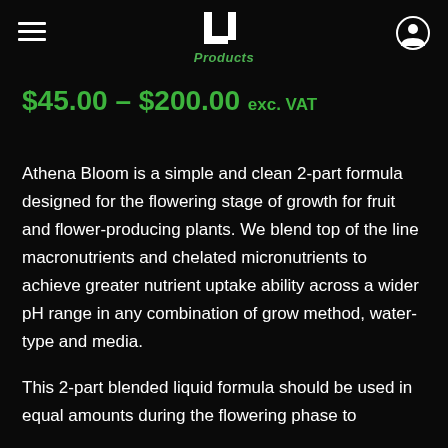LJ Products
$45.00 – $200.00 exc. VAT
Athena Bloom is a simple and clean 2-part formula designed for the flowering stage of growth for fruit and flower-producing plants. We blend top of the line macronutrients and chelated micronutrients to achieve greater nutrient uptake ability across a wider pH range in any combination of grow method, water-type and media.
This 2-part blended liquid formula should be used in equal amounts during the flowering phase to